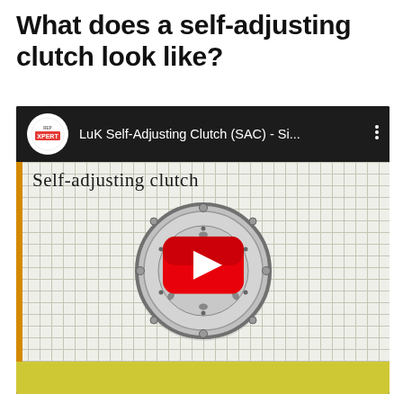What does a self-adjusting clutch look like?
[Figure (screenshot): YouTube video thumbnail showing a LuK Self-Adjusting Clutch (SAC) on a grid paper background with handwritten text 'Self-adjusting clutch', a clutch component photo, and a YouTube play button overlay. The video is titled 'LuK Self-Adjusting Clutch (SAC) - Si...' with RepXpert branding.]